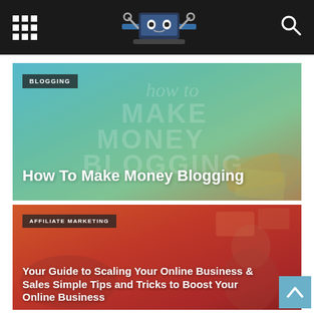Navigation bar with grid menu, logo, and search icon
[Figure (screenshot): Blog post card with teal-green gradient background showing 'How To Make Money Blogging' text overlay with BLOGGING category tag and money/papers imagery]
How To Make Money Blogging
[Figure (screenshot): Blog post card with red-orange gradient background showing affiliate marketing content with a person and products imagery]
Your Guide to Scaling Your Online Business & Sales Simple Tips and Tricks to Boost Your Online Business